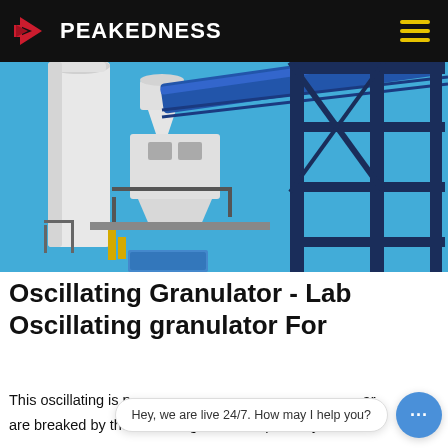PEAKEDNESS
[Figure (photo): Industrial cement batching plant with white silos, blue metal framework, conveyor belt, and clear blue sky background.]
Oscillating Granulator - Lab Oscillating granulator For
This oscillating is p... ar are breaked by the oscillating bars set up in a cylindrical